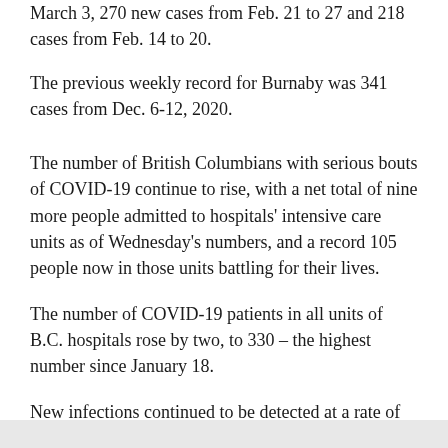March 3, 270 new cases from Feb. 21 to 27 and 218 cases from Feb. 14 to 20.
The previous weekly record for Burnaby was 341 cases from Dec. 6-12, 2020.
The number of British Columbians with serious bouts of COVID-19 continue to rise, with a net total of nine more people admitted to hospitals' intensive care units as of Wednesday's numbers, and a record 105 people now in those units battling for their lives.
The number of COVID-19 patients in all units of B.C. hospitals rose by two, to 330 – the highest number since January 18.
New infections continued to be detected at a rate of around 1,000 per day, with health officials confirming 997 new cases.